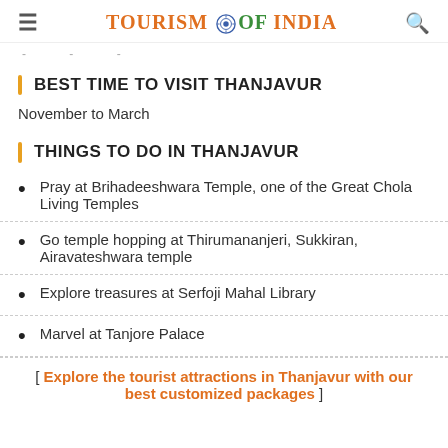Tourism of India
November to March
BEST TIME TO VISIT THANJAVUR
November to March
THINGS TO DO IN THANJAVUR
Pray at Brihadeeshwara Temple, one of the Great Chola Living Temples
Go temple hopping at Thirumananjeri, Sukkiran, Airavateshwara temple
Explore treasures at Serfoji Mahal Library
Marvel at Tanjore Palace
[ Explore the tourist attractions in Thanjavur with our best customized packages ]